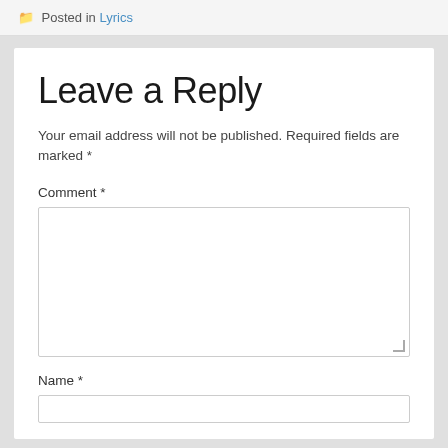📁 Posted in Lyrics
Leave a Reply
Your email address will not be published. Required fields are marked *
Comment *
Name *